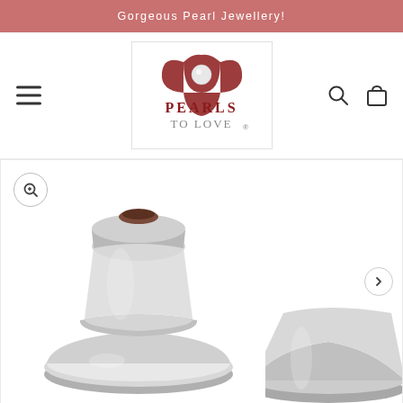Gorgeous Pearl Jewellery!
[Figure (logo): Pearls To Love logo - red flower/heart shape with pearl, text PEARLS TO LOVE with registered trademark symbol]
[Figure (photo): Close-up product photo of two silver earring backs/clutches on white background]